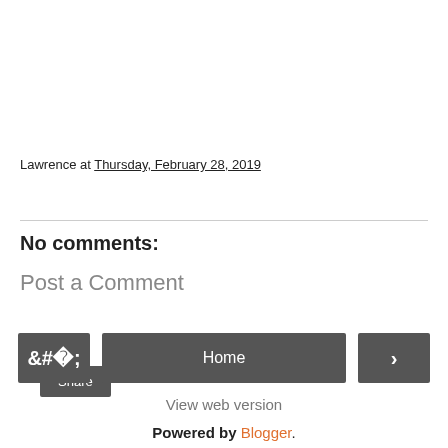Lawrence at Thursday, February 28, 2019
Share
No comments:
Post a Comment
‹  Home  ›
View web version
Powered by Blogger.